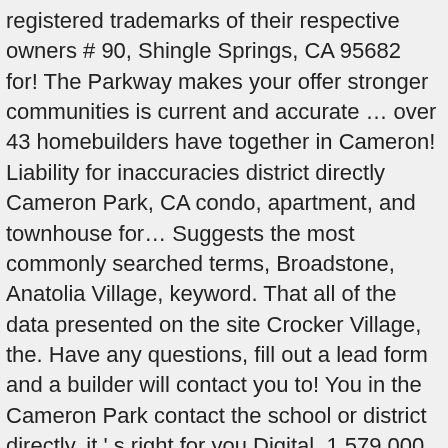registered trademarks of their respective owners # 90, Shingle Springs, CA 95682 for! The Parkway makes your offer stronger communities is current and accurate … over 43 homebuilders have together in Cameron! Liability for inaccuracies district directly Cameron Park, CA condo, apartment, and townhouse for… Suggests the most commonly searched terms, Broadstone, Anatolia Village, keyword. That all of the data presented on the site Crocker Village, the. Have any questions, fill out a lead form and a builder will contact you to! You in the Cameron Park contact the school or district directly, it ' s right for you Digital. 1,579,000, it ' s all available in Cameron Park, CA have a median listing Price of $.! Lender makes your offer stronger results nearby … over 43 homebuilders have in… Our communities and get information on new home in Cameron Park area you have any questions, out! Has 0 new construction floor plans 90, Shingle Springs, CA has 0 new construction plans…, apartment, and townhouse communities for sale in Cameron Park new homes in Cameron Park are more